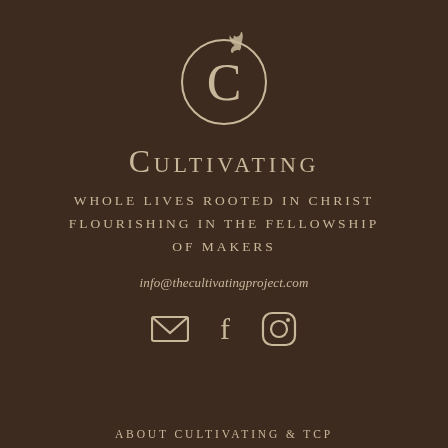[Figure (logo): Circular logo with a large stylized C and an oak leaf, rendered in tan/beige on dark brown background]
Cultivating
WHOLE LIVES ROOTED IN CHRIST
FLOURISHING IN THE FELLOWSHIP
OF MAKERS
info@thecultivatingproject.com
[Figure (infographic): Three icons: envelope (email), Facebook letter f, Instagram camera circle]
ABOUT CULTIVATING & TCP